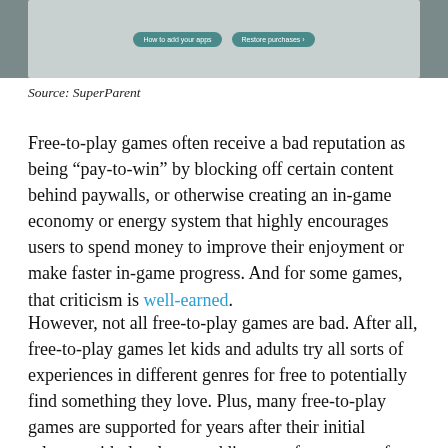[Figure (screenshot): App store screenshot strip showing two buttons: 'How to add your apps' and 'Restore purchases' on a grey/teal background]
Source: SuperParent
Free-to-play games often receive a bad reputation as being “pay-to-win” by blocking off certain content behind paywalls, or otherwise creating an in-game economy or energy system that highly encourages users to spend money to improve their enjoyment or make faster in-game progress. And for some games, that criticism is well-earned.
However, not all free-to-play games are bad. After all, free-to-play games let kids and adults try all sorts of experiences in different genres for free to potentially find something they love. Plus, many free-to-play games are supported for years after their initial release, with developers adding new free content for fans to